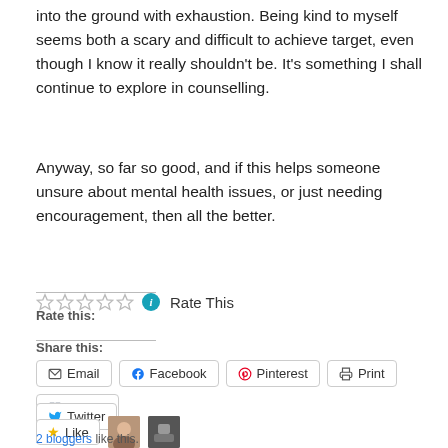into the ground with exhaustion. Being kind to myself seems both a scary and difficult to achieve target, even though I know it really shouldn't be. It's something I shall continue to explore in counselling.
Anyway, so far so good, and if this helps someone unsure about mental health issues, or just needing encouragement, then all the better.
Rate this:  Rate This
Share this:
Email  Facebook  Pinterest  Print  Tumblr  Twitter
Like  2 bloggers like this.